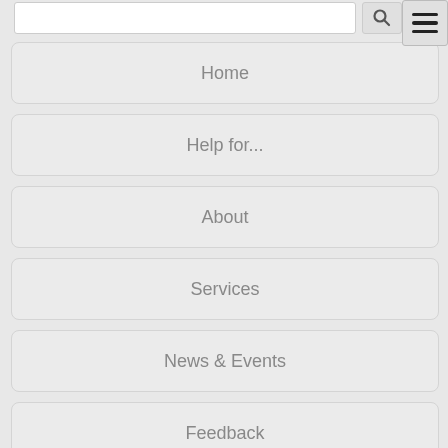[Figure (screenshot): Mobile website navigation menu with search bar, hamburger menu icon, and navigation items: Home, Help for..., About, Services, News & Events, Feedback, Booking]
Home
Help for...
About
Services
News & Events
Feedback
Booking